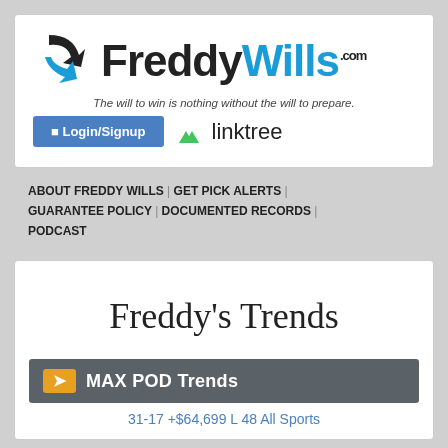[Figure (logo): FreddyWills.com logo with arrow icon, tagline, Login/Signup button, and Linktree badge]
ABOUT FREDDY WILLS | GET PICK ALERTS | GUARANTEE POLICY | DOCUMENTED RECORDS | PODCAST
Freddy's Trends
MAX POD Trends
31-17 +$64,699 L 48 All Sports